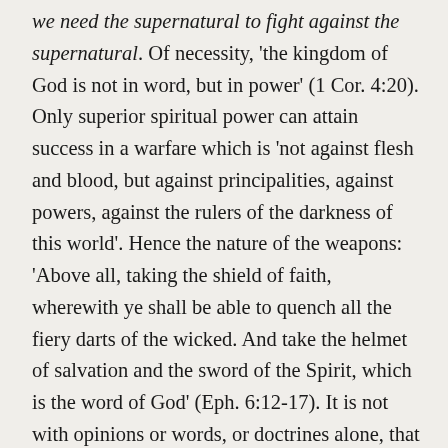we need the supernatural to fight against the supernatural. Of necessity, 'the kingdom of God is not in word, but in power' (1 Cor. 4:20). Only superior spiritual power can attain success in a warfare which is 'not against flesh and blood, but against principalities, against powers, against the rulers of the darkness of this world'. Hence the nature of the weapons: 'Above all, taking the shield of faith, wherewith ye shall be able to quench all the fiery darts of the wicked. And take the helmet of salvation and the sword of the Spirit, which is the word of God' (Eph. 6:12-17). It is not with opinions or words, or doctrines alone, that we can resist the devil. The fate of the Jews we read of in Ephesus is a salutary lesson for all times. Luke says, they 'took upon them to call over them which had evil spirits the name of the Lord Jesus, saying, We adjure you by Jesus whom Paul preacheth.